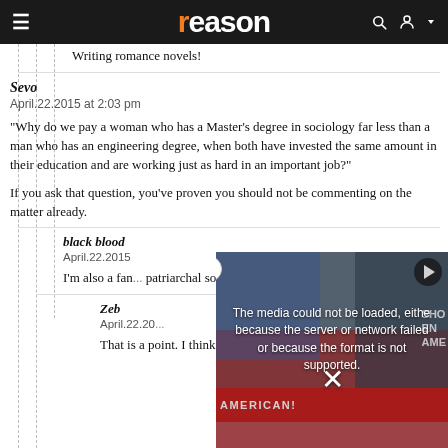reason
Writing romance novels!
Sevo
April.22.2015 at 2:03 pm
"Why do we pay a woman who has a Master's degree in sociology far less than a man who has an engineering degree, when both have invested the same amount in their education and are working just as hard in an important job?"
If you ask that question, you've proven you should not be commenting on the matter already.
black blood
April.22.2015
I'm also a fan... patriarchal so...
Zeb
April.22.20...
That is a point. I think people just let that one go by too often.
[Figure (screenshot): Video player error overlay showing protest image in background with message: 'The media could not be loaded, either because the server or network failed or because the format is not supported.' with a close X button and play button icon. Red banner at bottom reads 'AMERICAN!']